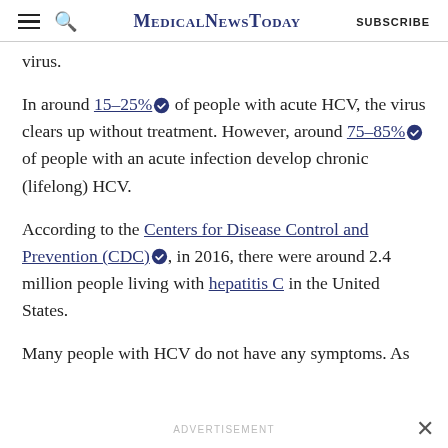MedicalNewsToday  SUBSCRIBE
virus.
In around 15–25% of people with acute HCV, the virus clears up without treatment. However, around 75–85% of people with an acute infection develop chronic (lifelong) HCV.
According to the Centers for Disease Control and Prevention (CDC), in 2016, there were around 2.4 million people living with hepatitis C in the United States.
Many people with HCV do not have any symptoms. As
ADVERTISEMENT